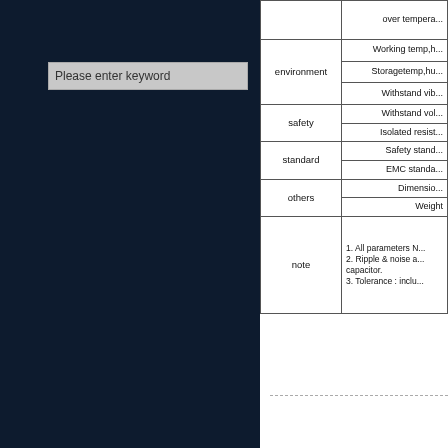[Figure (screenshot): Dark navy blue left panel of a web interface with a search input box labeled 'Please enter keyword']
| Category | Parameter |
| --- | --- |
|  | over tempera... |
| environment | Working temp,h... |
| environment | Storagetemp,hu... |
| environment | Withstand vib... |
| safety | Withstand vol... |
| safety | Isolated resist... |
| standard | Safety stand... |
| standard | EMC standa... |
| others | Dimensio... |
| others | Weight |
| note | 1. All parameters N...
2. Ripple & noise a... capacitor.
3. Tolerance : inclu... |